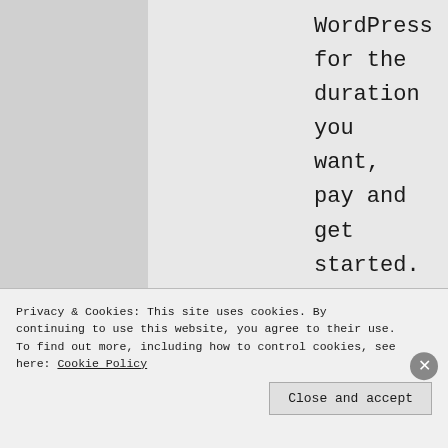WordPress for the duration you want, pay and get started. You do not need to be a techie or know any HTML or stuff like that. All editing options are readily available. You can also add images, choose appearance, add pages, etc. All you need to do is get typing. I
Privacy & Cookies: This site uses cookies. By continuing to use this website, you agree to their use. To find out more, including how to control cookies, see here: Cookie Policy
Close and accept